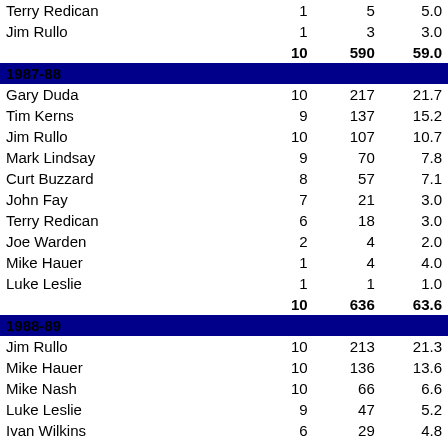| Name | G | Pts | Avg |
| --- | --- | --- | --- |
| Terry Redican | 1 | 5 | 5.0 |
| Jim Rullo | 1 | 3 | 3.0 |
|  | 10 | 590 | 59.0 |
| 1987-88 |  |  |  |
| Gary Duda | 10 | 217 | 21.7 |
| Tim Kerns | 9 | 137 | 15.2 |
| Jim Rullo | 10 | 107 | 10.7 |
| Mark Lindsay | 9 | 70 | 7.8 |
| Curt Buzzard | 8 | 57 | 7.1 |
| John Fay | 7 | 21 | 3.0 |
| Terry Redican | 6 | 18 | 3.0 |
| Joe Warden | 2 | 4 | 2.0 |
| Mike Hauer | 1 | 4 | 4.0 |
| Luke Leslie | 1 | 1 | 1.0 |
|  | 10 | 636 | 63.6 |
| 1988-89 |  |  |  |
| Jim Rullo | 10 | 213 | 21.3 |
| Mike Hauer | 10 | 136 | 13.6 |
| Mike Nash | 10 | 66 | 6.6 |
| Luke Leslie | 9 | 47 | 5.2 |
| Ivan Wilkins | 6 | 29 | 4.8 |